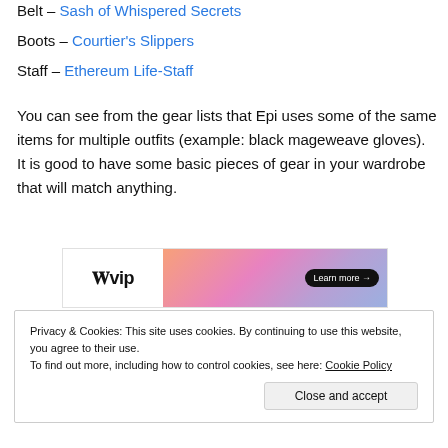Belt – Sash of Whispered Secrets
Boots – Courtier's Slippers
Staff – Ethereum Life-Staff
You can see from the gear lists that Epi uses some of the same items for multiple outfits (example: black mageweave gloves).  It is good to have some basic pieces of gear in your wardrobe that will match anything.
[Figure (screenshot): Advertisement banner for WordPress VIP with logo on left, orange-pink gradient in center, and 'Learn more →' button on dark pill on right. Below shows 'REPORT THIS AD' in small grey text.]
Privacy & Cookies: This site uses cookies. By continuing to use this website, you agree to their use.
To find out more, including how to control cookies, see here: Cookie Policy

Close and accept